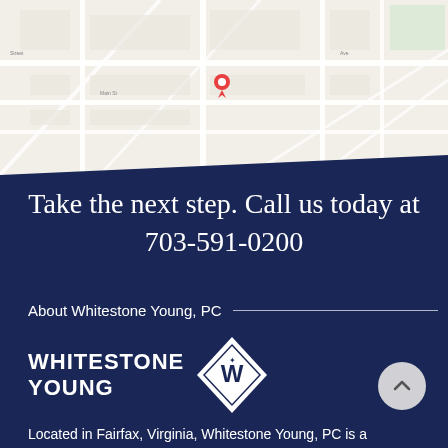[Figure (map): Google Maps screenshot showing street map with a red location pin marker in Fairfax, Virginia area]
Take the next step. Call us today at 703-591-0200
About Whitestone Young, PC
[Figure (logo): Whitestone Young law firm logo: text WHITESTONE YOUNG beside a diamond-shaped emblem with a stylized W inside]
Located in Fairfax, Virginia, Whitestone Young, PC is a